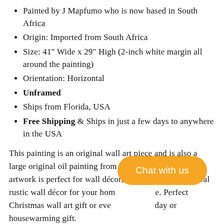Painted by J Mapfumo who is now based in South Africa
Origin: Imported from South Africa
Size: 41" Wide x 29" High (2-inch white margin all around the painting)
Orientation: Horizontal
Unframed
Ships from Florida, USA
Free Shipping & Ships in just a few days to anywhere in the USA
This painting is an original wall art piece and is also a large original oil painting from Southern Africa. The artwork is perfect for wall décor, home décor, or the ideal rustic wall décor for your home or office. Perfect Christmas wall art gift or even a birthday or housewarming gift.